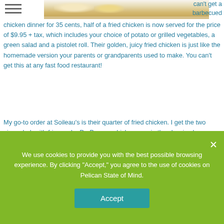[Figure (photo): Partial photo of fried chicken dish on a white plate]
can't get a barbecued chicken dinner for 35 cents, half of a fried chicken is now served for the price of $9.95 + tax, which includes your choice of potato or grilled vegetables, a green salad and a pistolet roll. Their golden, juicy fried chicken is just like the homemade version your parents or grandparents used to make. You can't get this at any fast food restaurant!
My go-to order at Soileau's is their quarter of fried chicken. I get the two piece dark with fries and a Dr. Pepper which comes in the classic glass bottle. The chicken is always fried to crunchy, juicy perfection. This local spot may be quiet for lunch, but it tends to be busy at dinner time. No matter what time of the day you visit,
We use cookies to provide you with the best possible browsing experience. By clicking "Accept," you agree to the use of cookies on Pelican State of Mind.